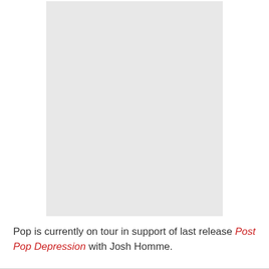[Figure (photo): A light gray rectangular placeholder image, likely representing a photo of Iggy Pop.]
Pop is currently on tour in support of last release Post Pop Depression with Josh Homme.